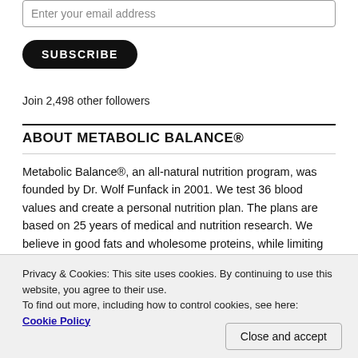Enter your email address
SUBSCRIBE
Join 2,498 other followers
ABOUT METABOLIC BALANCE®
Metabolic Balance®, an all-natural nutrition program, was founded by Dr. Wolf Funfack in 2001. We test 36 blood values and create a personal nutrition plan. The plans are based on 25 years of medical and nutrition research. We believe in good fats and wholesome proteins, while limiting carbs and avoiding sugar.
Privacy & Cookies: This site uses cookies. By continuing to use this website, you agree to their use.
To find out more, including how to control cookies, see here: Cookie Policy
Close and accept
information with you about Healthy Living, Nutrition and a Healthy